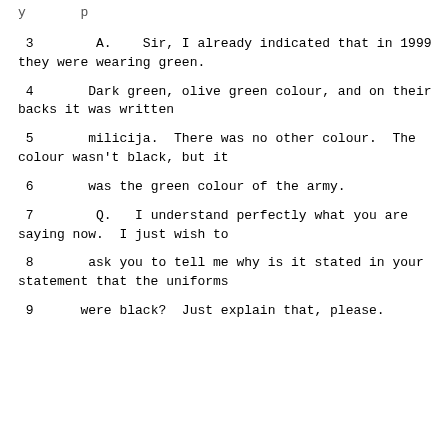y       p
3        A.    Sir, I already indicated that in 1999 they were wearing green.
4       Dark green, olive green colour, and on their backs it was written
5       milicija.  There was no other colour.  The colour wasn't black, but it
6       was the green colour of the army.
7        Q.   I understand perfectly what you are saying now.  I just wish to
8       ask you to tell me why is it stated in your statement that the uniforms
9      were black?  Just explain that, please.